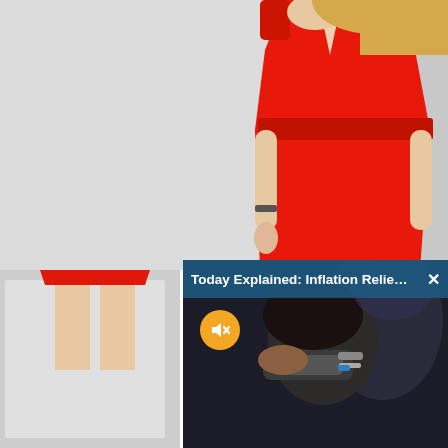[Figure (photo): Woman wearing a red wrap-style dress with cap sleeves and a belt, shown from shoulders to knees against a light grey background. She has blonde hair and wears a dark bracelet.]
[Figure (photo): Lower portion continuation of the fashion photo, showing a grey studio background with a lighter rectangular area in the lower left.]
[Figure (screenshot): Video overlay thumbnail showing a person getting a haircut with clippers, dark cinematic lighting. Title bar reads 'Today Explained: Inflation Relief for So...' with a close (X) button. A yellow muted/speaker-off circular button is visible.]
Today Explained: Inflation Relief for So...